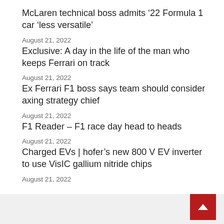McLaren technical boss admits ’22 Formula 1 car ‘less versatile’
August 21, 2022
Exclusive: A day in the life of the man who keeps Ferrari on track
August 21, 2022
Ex Ferrari F1 boss says team should consider axing strategy chief
August 21, 2022
F1 Reader – F1 race day head to heads
August 21, 2022
Charged EVs | hofer’s new 800 V EV inverter to use VisIC gallium nitride chips
August 21, 2022